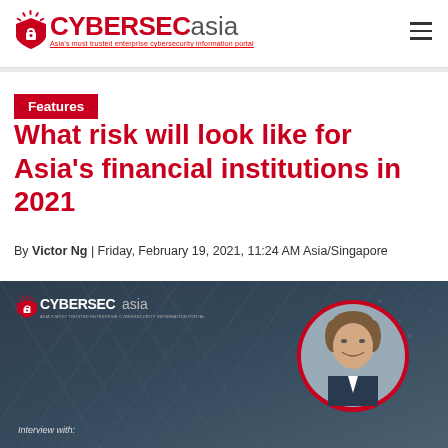CYBERSECasia — Asia's most trusted enterprise cybersecurity information portal
Features
What risk will look like for Asia's financial institutions in 2021
By Victor Ng | Friday, February 19, 2021, 11:24 AM Asia/Singapore
[Figure (photo): Hero image with dark cybersecurity background, CYBERSECasia logo, and portrait of interviewee in circular frame with red border. Text 'Interview with:' at bottom left.]